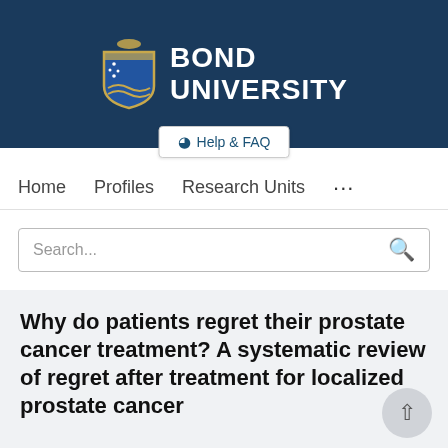[Figure (logo): Bond University shield logo with stars and waves, next to bold white text BOND UNIVERSITY on dark navy background]
Help & FAQ
Home   Profiles   Research Units   ...
Search...
Why do patients regret their prostate cancer treatment? A systematic review of regret after treatment for localized prostate cancer